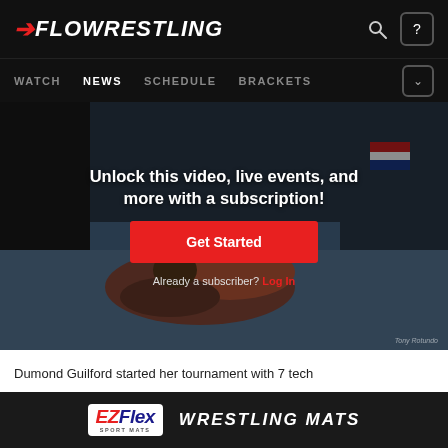FloWrestling - WATCH | NEWS | SCHEDULE | BRACKETS
[Figure (photo): Two wrestlers competing on a blue mat with a subscription overlay showing 'Unlock this video, live events, and more with a subscription!' and a red 'Get Started' button, and 'Already a subscriber? Log In' text. Photo credit: Tony Rotundo.]
Dumond Guilford started her tournament with 7 tech...
[Figure (logo): EZ Flex Sport Mats advertisement banner with white/blue EZ Flex logo on dark background and white italic text 'WRESTLING MATS']